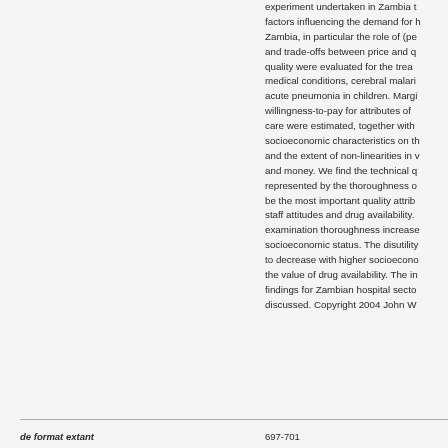experiment undertaken in Zambia to factors influencing the demand for h Zambia, in particular the role of (pe and trade-offs between price and q quality were evaluated for the treat medical conditions, cerebral malari acute pneumonia in children. Margi willingness-to-pay for attributes of care were estimated, together with socioeconomic characteristics on th and the extent of non-linearities in and money. We find the technical q represented by the thoroughness o be the most important quality attrib staff attitudes and drug availability. examination thoroughness increase socioeconomic status. The disutility to decrease with higher socioecono the value of drug availability. The in findings for Zambian hospital secto discussed. Copyright 2004 John W
de format extant
697-701